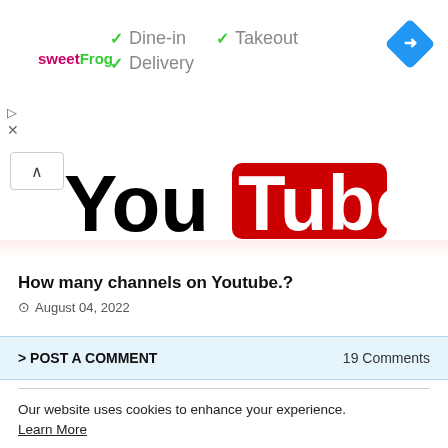[Figure (logo): sweetFrog logo with ad banner showing Dine-in, Takeout, Delivery checkmarks and a navigation direction icon]
[Figure (logo): YouTube logo - black 'You' text followed by red rectangle with white 'Tube' text]
How many channels on Youtube.?
August 04, 2022
> POST A COMMENT    19 Comments
Our website uses cookies to enhance your experience. Learn More
Accept !